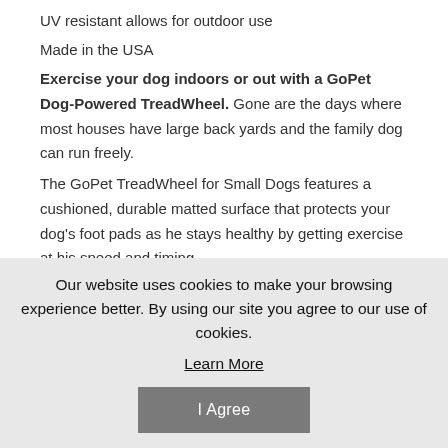UV resistant allows for outdoor use
Made in the USA
Exercise your dog indoors or out with a GoPet Dog-Powered TreadWheel. Gone are the days where most houses have large back yards and the family dog can run freely.
The GoPet TreadWheel for Small Dogs features a cushioned, durable matted surface that protects your dog's foot pads as he stays healthy by getting exercise at his speed and timing.
Our website uses cookies to make your browsing experience better. By using our site you agree to our use of cookies.
Learn More
I Agree